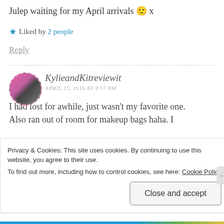Julep waiting for my April arrivals 🙂 x
★ Liked by 2 people
Reply
KylieandKitreviewit
APRIL 15, 2016 AT 8:57 PM
I had lost for awhile, just wasn't my favorite one. Also ran out of room for makeup bags haha. I
Privacy & Cookies: This site uses cookies. By continuing to use this website, you agree to their use.
To find out more, including how to control cookies, see here: Cookie Policy
Close and accept